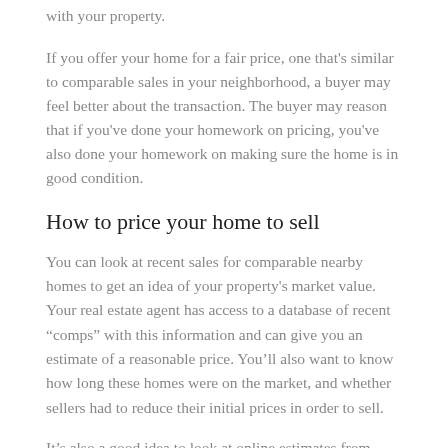with your property.
If you offer your home for a fair price, one that's similar to comparable sales in your neighborhood, a buyer may feel better about the transaction. The buyer may reason that if you've done your homework on pricing, you've also done your homework on making sure the home is in good condition.
How to price your home to sell
You can look at recent sales for comparable nearby homes to get an idea of your property's market value. Your real estate agent has access to a database of recent “comps” with this information and can give you an estimate of a reasonable price. You’ll also want to know how long these homes were on the market, and whether sellers had to reduce their initial prices in order to sell.
It’s also a good idea to look at online estimates from